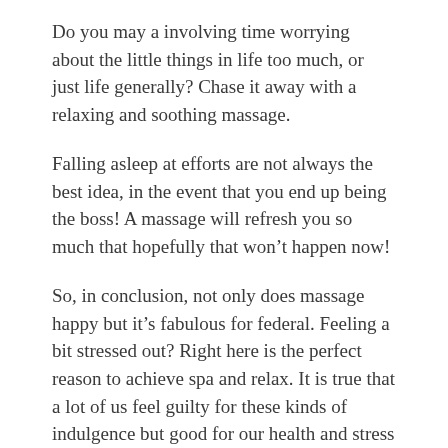Do you may a involving time worrying about the little things in life too much, or just life generally? Chase it away with a relaxing and soothing massage.
Falling asleep at efforts are not always the best idea, in the event that you end up being the boss! A massage will refresh you so much that hopefully that won't happen now!
So, in conclusion, not only does massage happy but it's fabulous for federal. Feeling a bit stressed out? Right here is the perfect reason to achieve spa and relax. It is true that a lot of us feel guilty for these kinds of indulgence but good for our health and stress levels. Wouldn't you rather be more relaxed and healthier than snapping at people or at risk of high blood pressure? Most people shrug off the idea of having a massage because they possess a little additional time. Try planning on having a